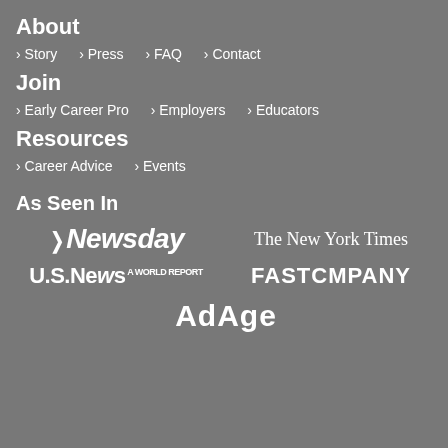About
> Story  > Press  > FAQ  > Contact
Join
> Early Career Pro  > Employers  > Educators
Resources
> Career Advice  > Events
As Seen In
[Figure (logo): Newsday logo and The New York Times logo side by side]
[Figure (logo): U.S.News & World Report logo and Fast Company logo side by side]
[Figure (logo): AdAge logo centered]